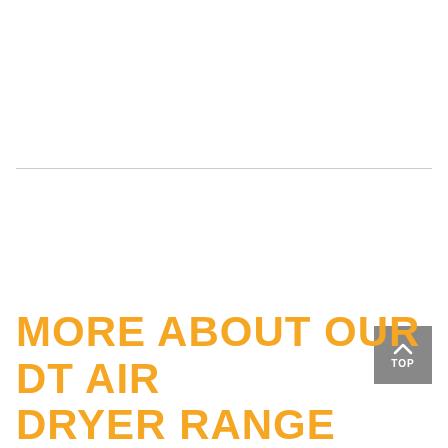MORE ABOUT OUR DT AIR DRYER RANGE